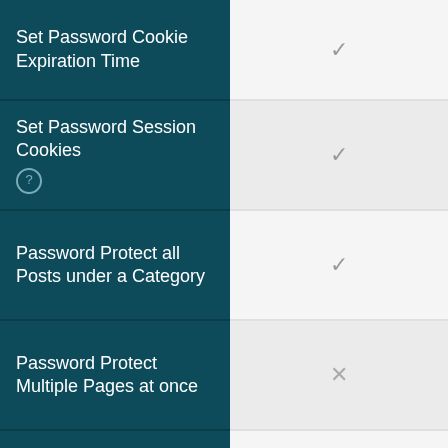| Feature | Supported |
| --- | --- |
| Set Password Cookie Expiration Time | ✓ |
| Set Password Session Cookies (?) | ✓ |
| Password Protect all Posts under a Category | ✓ |
| Password Protect Multiple Pages at once | ✗ |
| Password Protect Sub Pages | ✗ |